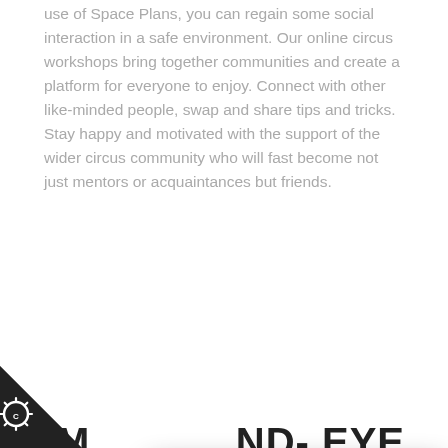use of Space Plans, you can regain some social interaction in a safe environment. Our online circus workshops bring together communities and create a platform for everyone to enjoy. Connect with other like-minded people, swap and share tips and tricks. Stay happy and motivated with the support of the wider circus community who will fast become not just mentors or acquaintances but friends.
IM...ND- EYE CO...
Circu... ways been identified as a... t, learning to juggle enga... the logical/analytical side,... red the act of jugg... r brain is the part whic... shown to improve ... and eye coordination, and as a result, can improve
[Figure (screenshot): Cookie consent modal popup with dark header showing gear/settings icon and C logo, close X button. Body contains text 'We use cookies to give you the best online experience. Please let us know if you agree to all of these cookies.' with dark 'I'm fine with this' button and 'Information and Settings Cookie policy' links below.]